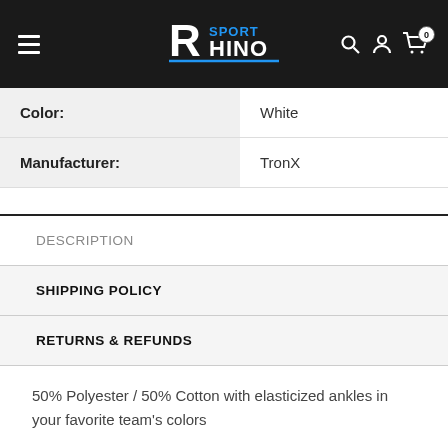Sport Rhino
| Attribute | Value |
| --- | --- |
| Color: | White |
| Manufacturer: | TronX |
DESCRIPTION
SHIPPING POLICY
RETURNS & REFUNDS
50% Polyester / 50% Cotton with elasticized ankles in your favorite team's colors
FREE SHIPPING